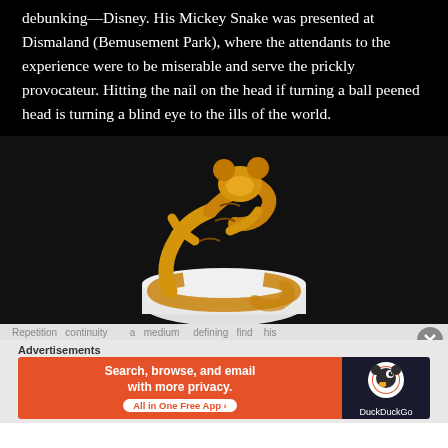debunking—Disney. His Mickey Snake was presented at Dismaland (Bemusement Park), where the attendants to the experience were to be miserable and serve the prickly provocateur. Hitting the nail on the head if turning a ball peened head is turning a blind eye to the ills of the world.
[Figure (photo): A yellow and brown patterned snake sculpture shaped like Mickey Mouse, coiled around a white cylindrical pedestal against a dark background.]
Repetition continuity a medium defining his tob...
Advertisements
[Figure (other): DuckDuckGo advertisement banner: 'Search, browse, and email with more privacy. All in One Free App' on orange background with DuckDuckGo logo on dark right side.]